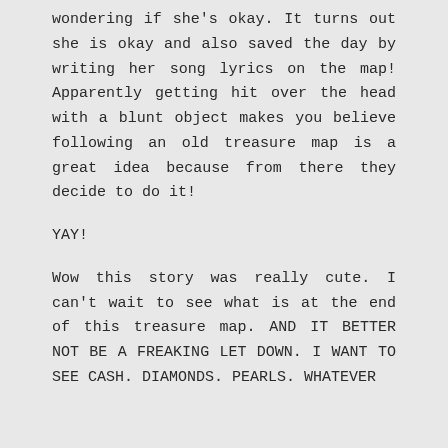wondering if she's okay. It turns out she is okay and also saved the day by writing her song lyrics on the map! Apparently getting hit over the head with a blunt object makes you believe following an old treasure map is a great idea because from there they decide to do it!
YAY!
Wow this story was really cute. I can't wait to see what is at the end of this treasure map. AND IT BETTER NOT BE A FREAKING LET DOWN. I WANT TO SEE CASH. DIAMONDS. PEARLS. WHATEVER